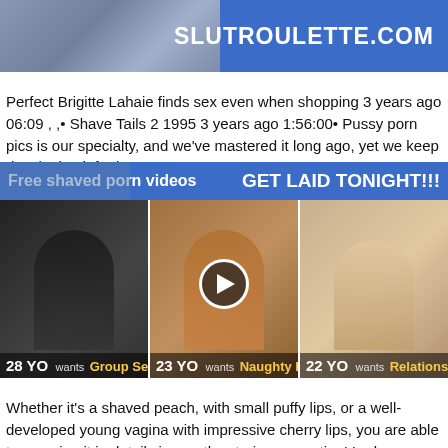[Figure (screenshot): Top banner with blue background showing SLUTROULETTE.COM text in white bold on right, and a photo on the left side]
Perfect Brigitte Lahaie finds sex even when shopping 3 years ago 06:09 , ,• Shave Tails 2 1995 3 years ago 1:56:00• Pussy porn pics is our specialty, and we've mastered it long ago, yet we keep developing it furthermore.
[Figure (screenshot): Ad banner with blue background. Left side: 'Free shaved porn videos' text with background image. Right side: 'GET LAID TONIGHT!!!' in large white bold text.]
[Figure (screenshot): Three thumbnail images in a row. First: dark photo of woman with bottle, label '28 YO wants Group Sex'. Second: tanned woman photo with play button overlay, label '23 YO wants Naughty Fun'. Third: blonde woman photo, label '22 YO wants Relationship'.]
Whether it's a shaved peach, with small puffy lips, or a well-developed young vagina with impressive cherry lips, you are able to examine it in details in mouthwatering xxx action! Lady